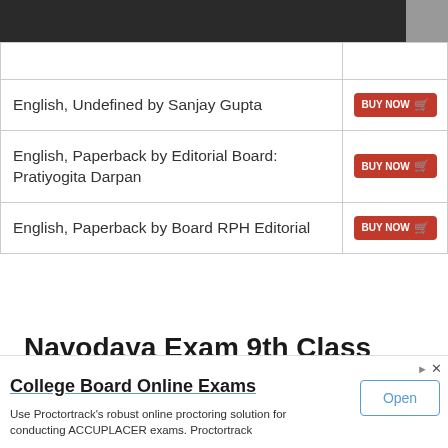| Book Description | Buy |
| --- | --- |
| English, Undefined by Sanjay Gupta | BUY NOW |
| English, Paperback by Editorial Board: Pratiyogita Darpan | BUY NOW |
| English, Paperback by Board RPH Editorial | BUY NOW |
Navodaya Exam 9th Class Books on Amazon
College Board Online Exams
Use Proctortrack's robust online proctoring solution for conducting ACCUPLACER exams. Proctortrack